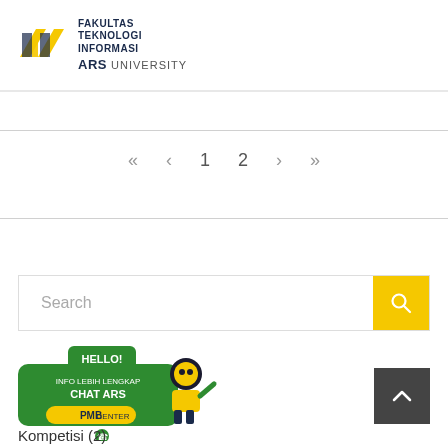[Figure (logo): Fakultas Teknologi Informasi ARS University logo with yellow/black building icon and text]
« < 1 2 > »
[Figure (screenshot): Search bar with yellow search button]
[Figure (illustration): Chat widget with HELLO! INFO LEBIH LENGKAP CHAT ARS PMB CENTER robot character]
Kompetisi (2)